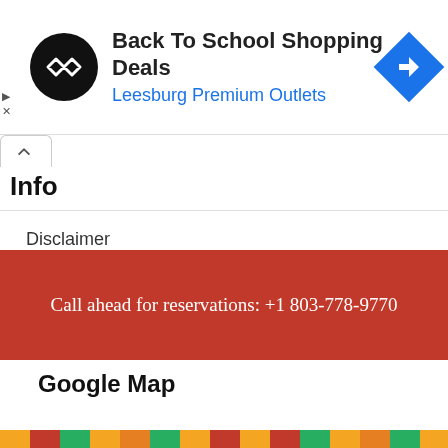[Figure (screenshot): Advertisement banner: Back To School Shopping Deals at Leesburg Premium Outlets with logo and navigation icon]
Info
Disclaimer
Privacy Policy
Terms and Conditions
Contacts
Call ahead for reservations: +1 803-778-9770
Google Map